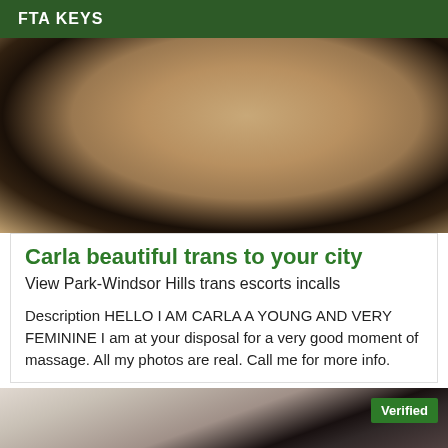FTA KEYS
[Figure (photo): Partial body photo showing legs and fishnet stockings against a window background]
Carla beautiful trans to your city
View Park-Windsor Hills trans escorts incalls
Description HELLO I AM CARLA A YOUNG AND VERY FEMININE I am at your disposal for a very good moment of massage. All my photos are real. Call me for more info.
[Figure (photo): Portrait photo of a woman with long dark hair, Verified badge in upper right corner]
Verified